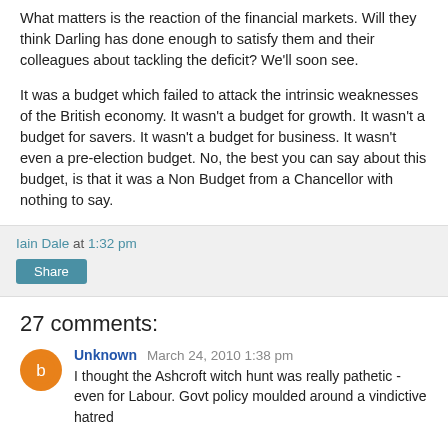What matters is the reaction of the financial markets. Will they think Darling has done enough to satisfy them and their colleagues about tackling the deficit? We'll soon see.
It was a budget which failed to attack the intrinsic weaknesses of the British economy. It wasn't a budget for growth. It wasn't a budget for savers. It wasn't a budget for business. It wasn't even a pre-election budget. No, the best you can say about this budget, is that it was a Non Budget from a Chancellor with nothing to say.
Iain Dale at 1:32 pm
Share
27 comments:
Unknown  March 24, 2010 1:38 pm
I thought the Ashcroft witch hunt was really pathetic - even for Labour. Govt policy moulded around a vindictive hatred